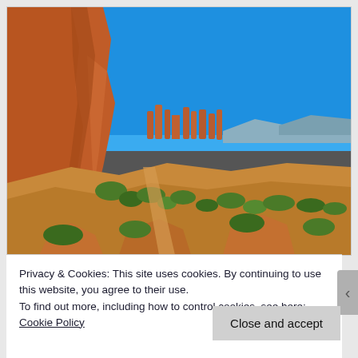[Figure (photo): Outdoor desert landscape photograph showing tall red sandstone rock formations and cliffs on the left, with a bright blue sky, green scrubby vegetation, and dry red-brown terrain stretching to the background where more rock spires are visible in the middle distance.]
Privacy & Cookies: This site uses cookies. By continuing to use this website, you agree to their use.
To find out more, including how to control cookies, see here: Cookie Policy
Close and accept